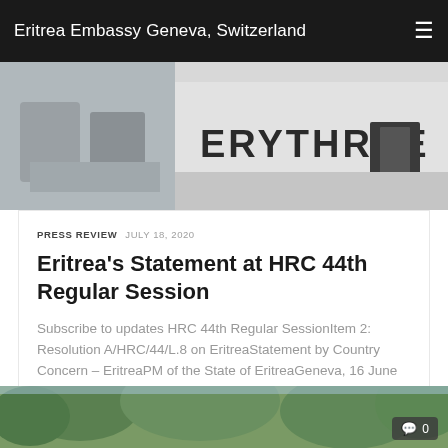Eritrea Embassy Geneva, Switzerland
[Figure (photo): Photograph showing a room with chairs and the word ERYTHREE visible on a sign/board in the background]
PRESS REVIEW  JULY 18, 2020
Eritrea's Statement at HRC 44th Regular Session
Subscribe to updates HRC 44th Regular SessionItem 2: Resolution A/HRC/44/L.8 on EritreaStatement by Country Concern – EritreaPM of the State of EritreaGeneva, 16 June 2020 Madam President The present resolution on Eritrea is a...
[Figure (photo): Partial view of trees and outdoor scene at the bottom of the page, with a comment count badge showing 0]